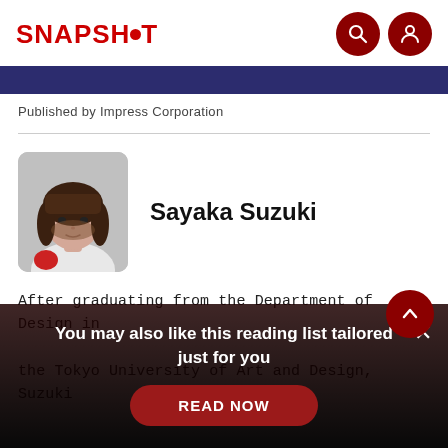SNAPSHOT
Published by Impress Corporation
[Figure (photo): Profile photo of Sayaka Suzuki, a young woman with a bob haircut, wearing a white top]
Sayaka Suzuki
After graduating from the Department of Design in the Tokyo University of Art and Design, Suzuki
You may also like this reading list tailored just for you
READ NOW